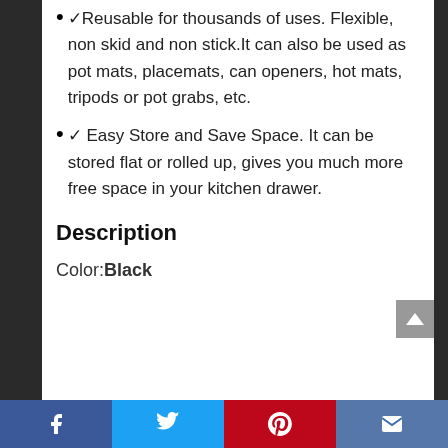✓ Reusable for thousands of uses. Flexible, non skid and non stick.It can also be used as pot mats, placemats, can openers, hot mats, tripods or pot grabs, etc.
✓ Easy Store and Save Space. It can be stored flat or rolled up, gives you much more free space in your kitchen drawer.
Description
Color: Black